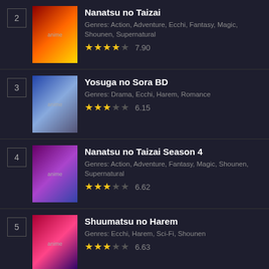2 - Nanatsu no Taizai
Genres: Action, Adventure, Ecchi, Fantasy, Magic, Shounen, Supernatural
Rating: 7.90
3 - Yosuga no Sora BD
Genres: Drama, Ecchi, Harem, Romance
Rating: 6.15
4 - Nanatsu no Taizai Season 4
Genres: Action, Adventure, Fantasy, Magic, Shounen, Supernatural
Rating: 6.62
5 - Shuumatsu no Harem
Genres: Ecchi, Harem, Sci-Fi, Shounen
Rating: 6.63
Genre
Action
Adult Cast